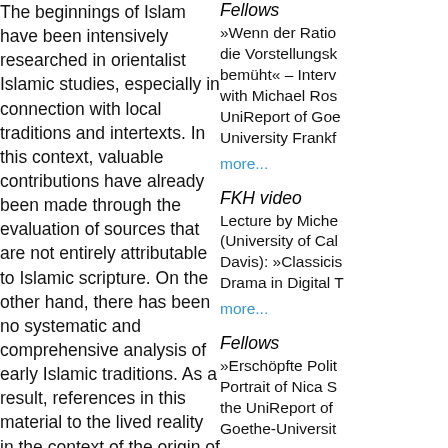The beginnings of Islam have been intensively researched in orientalist Islamic studies, especially in connection with local traditions and intertexts. In this context, valuable contributions have already been made through the evaluation of sources that are not entirely attributable to Islamic scripture. On the other hand, there has been no systematic and comprehensive analysis of early Islamic traditions. As a result, references in this material to the lived reality in the context of the origin of the Qur'an and Islam remain unconsidered. To fill this
Fellows
»Wenn der Ratio die Vorstellungsk bemüht« – Interv with Michael Ros UniReport of Goe University Frankf
more...
FKH video
Lecture by Miche (University of Cal Davis): »Classicis Drama in Digital T
more...
Fellows
»Erschöpfte Polit Portrait of Nica S the UniReport of Goethe-Universit
more...